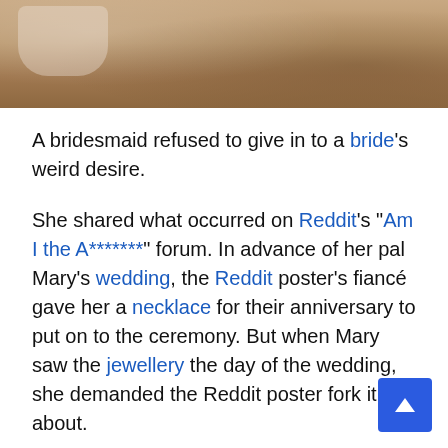[Figure (photo): Close-up photo of a bride's torso showing lace wedding dress detail, hands clasped, with blurred green background]
A bridesmaid refused to give in to a bride's weird desire.
She shared what occurred on Reddit's "Am I the A*******" forum. In advance of her pal Mary's wedding, the Reddit poster's fiancé gave her a necklace for their anniversary to put on to the ceremony. But when Mary saw the jewellery the day of the wedding, she demanded the Reddit poster fork it about.
Decode and demystify Gen Z's latest on line slang phrases with In The Know's new glossary.